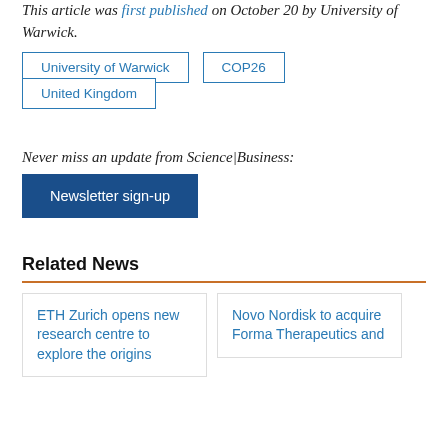This article was first published on October 20 by University of Warwick.
University of Warwick
COP26
United Kingdom
Never miss an update from Science|Business:
Newsletter sign-up
Related News
ETH Zurich opens new research centre to explore the origins
Novo Nordisk to acquire Forma Therapeutics and